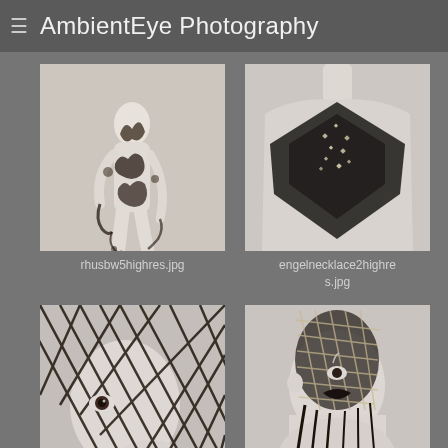AmbientEye Photography
[Figure (photo): Black and white fashion photo of a figure with black floral body art/lace decoration, standing pose]
rhusbw5highres.jpg
[Figure (photo): Fashion photo of a torso wearing a black geometric/metallic angular neckpiece with sparkle detail]
engelnecklace2highres.jpg
[Figure (photo): Close-up portrait of a model with black net/mesh veil draped over face and head, dark lipstick]
[Figure (photo): Portrait of a model with black net/mesh over head and hair, dark lipstick, looking upward]